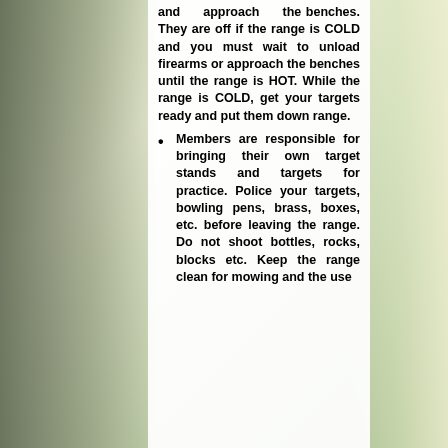and approach the benches. They are off if the range is COLD and you must wait to unload firearms or approach the benches until the range is HOT. While the range is COLD, get your targets ready and put them down range.
Members are responsible for bringing their own target stands and targets for practice. Police your targets, bowling pens, brass, boxes, etc. before leaving the range. Do not shoot bottles, rocks, blocks etc. Keep the range clean for mowing and the use